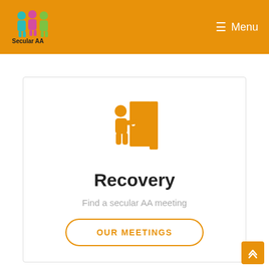Secular AA — Menu
[Figure (logo): Secular AA logo with colorful person icons and text 'Secular AA']
[Figure (illustration): Orange icon of a person pushing open a door]
Recovery
Find a secular AA meeting
OUR MEETINGS